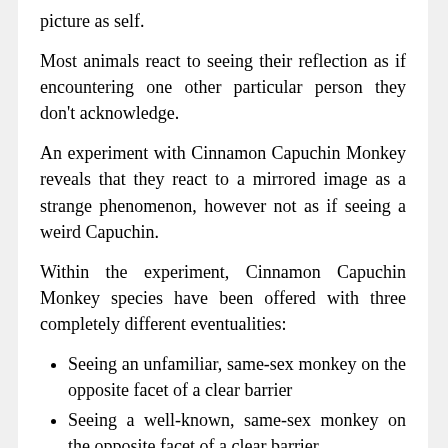picture as self.
Most animals react to seeing their reflection as if encountering one other particular person they don't acknowledge.
An experiment with Cinnamon Capuchin Monkey reveals that they react to a mirrored image as a strange phenomenon, however not as if seeing a weird Capuchin.
Within the experiment, Cinnamon Capuchin Monkey species have been offered with three completely different eventualities:
Seeing an unfamiliar, same-sex monkey on the opposite facet of a clear barrier
Seeing a well-known, same-sex monkey on the opposite facet of a clear barrier
A mirror exhibiting a mirrored image of